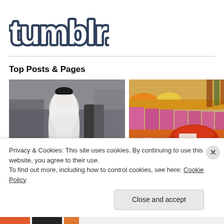[Figure (logo): Tumblr logo — white rounded text 'tumblr.' with dark navy/blue thick outline/shadow on white background]
Top Posts & Pages
[Figure (photo): Photo of a woman in traditional white Georgian dress and black hat in a crowd setting]
[Figure (photo): Photo of colorful spices in pink buckets at a market]
Privacy & Cookies: This site uses cookies. By continuing to use this website, you agree to their use.
To find out more, including how to control cookies, see here: Cookie Policy
Close and accept